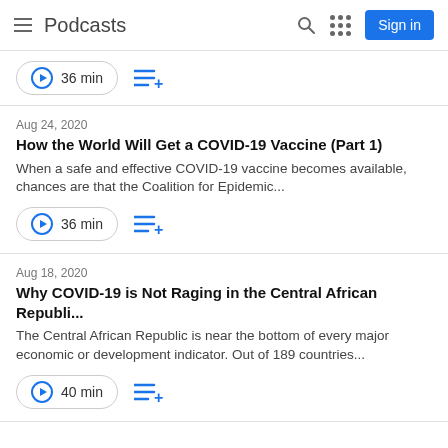Podcasts
36 min
Aug 24, 2020
How the World Will Get a COVID-19 Vaccine (Part 1)
When a safe and effective COVID-19 vaccine becomes available, chances are that the Coalition for Epidemic...
36 min
Aug 18, 2020
Why COVID-19 is Not Raging in the Central African Republi...
The Central African Republic is near the bottom of every major economic or development indicator. Out of 189 countries...
40 min